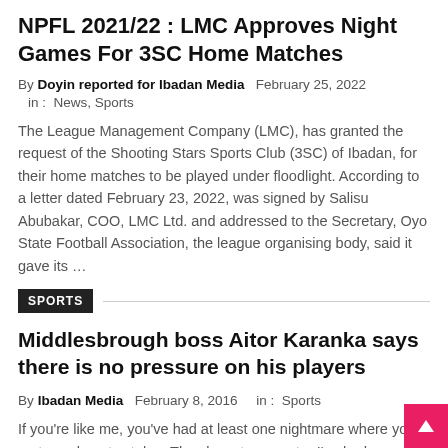NPFL 2021/22 : LMC Approves Night Games For 3SC Home Matches
By Doyin reported for Ibadan Media   February 25, 2022
in :  News, Sports
The League Management Company (LMC), has granted the request of the Shooting Stars Sports Club (3SC) of Ibadan, for their home matches to be played under floodlight. According to a letter dated February 23, 2022, was signed by Salisu Abubakar, COO, LMC Ltd. and addressed to the Secretary, Oyo State Football Association, the league organising body, said it gave its …
SPORTS
Middlesbrough boss Aitor Karanka says there is no pressure on his players
By Ibadan Media   February 8, 2016     in :  Sports
If you're like me, you've had at least one nightmare where your motorcycle gets stolen. The closest encounter I've had was